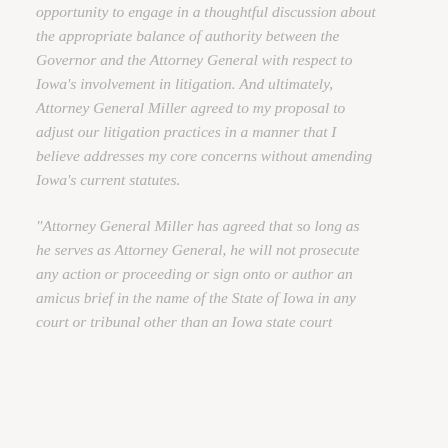opportunity to engage in a thoughtful discussion about the appropriate balance of authority between the Governor and the Attorney General with respect to Iowa's involvement in litigation. And ultimately, Attorney General Miller agreed to my proposal to adjust our litigation practices in a manner that I believe addresses my core concerns without amending Iowa's current statutes.
"Attorney General Miller has agreed that so long as he serves as Attorney General, he will not prosecute any action or proceeding or sign onto or author an amicus brief in the name of the State of Iowa in any court or tribunal other than an Iowa state court